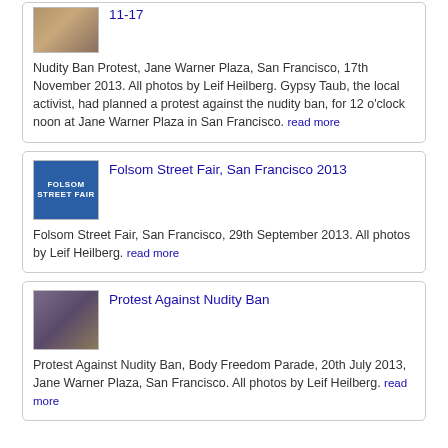[Figure (photo): Partial thumbnail image of a person at protest, cropped at top]
11-17
Nudity Ban Protest, Jane Warner Plaza, San Francisco, 17th November 2013. All photos by Leif Heilberg. Gypsy Taub, the local activist, had planned a protest against the nudity ban, for 12 o'clock noon at Jane Warner Plaza in San Francisco. read more
[Figure (photo): Thumbnail image of Folsom Street Fair sign with blue background]
Folsom Street Fair, San Francisco 2013
Folsom Street Fair, San Francisco, 29th September 2013. All photos by Leif Heilberg. read more
[Figure (photo): Thumbnail image of a person at Protest Against Nudity Ban]
Protest Against Nudity Ban
Protest Against Nudity Ban, Body Freedom Parade, 20th July 2013, Jane Warner Plaza, San Francisco. All photos by Leif Heilberg. read more